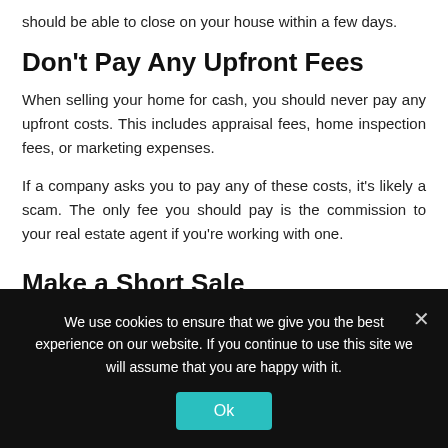should be able to close on your house within a few days.
Don't Pay Any Upfront Fees
When selling your home for cash, you should never pay any upfront costs. This includes appraisal fees, home inspection fees, or marketing expenses.
If a company asks you to pay any of these costs, it’s likely a scam. The only fee you should pay is the commission to your real estate agent if you’re working with one.
Make a Short Sale
If you cannot make your mortgage payments and are at risk of
We use cookies to ensure that we give you the best experience on our website. If you continue to use this site we will assume that you are happy with it.